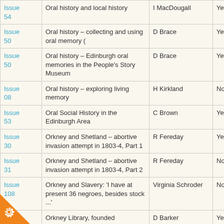| Issue | Title | Author | Available |
| --- | --- | --- | --- |
| Issue 54 | Oral history and local history | I MacDougall | Yes |
| Issue 50 | Oral history – collecting and using oral memory ( | D Brace | Yes |
| Issue 50 | Oral history – Edinburgh oral memories in the People's Story Museum | D Brace | Yes |
| Issue 08 | Oral history – exploring living memory | H Kirkland | No |
| Issue 53 | Oral Social History in the Edinburgh Area | C Brown | Yes |
| Issue 30 | Orkney and Shetland – abortive invasion attempt in 1803-4, Part 1 | R Fereday | Yes |
| Issue 31 | Orkney and Shetland – abortive invasion attempt in 1803-4, Part 2 | R Fereday | No |
| Issue 108 | Orkney and Slavery: 'I have at present 36 negroes, besides stock ...' | Virginia Schroder | No |
| Issue ... | Orkney Library, founded | D Barker | Yes |